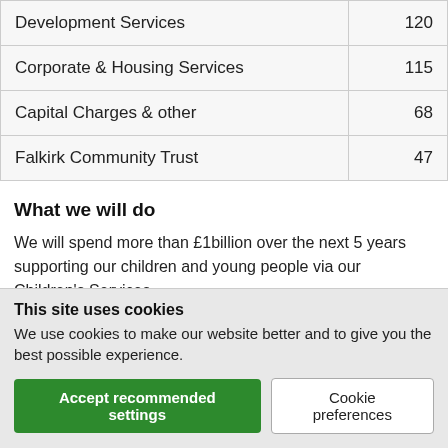| Service | Amount |
| --- | --- |
| Development Services | 120 |
| Corporate & Housing Services | 115 |
| Capital Charges & other | 68 |
| Falkirk Community Trust | 47 |
What we will do
We will spend more than £1billion over the next 5 years supporting our children and young people via our Children's Services.
This means we are investing in:
Retainingrettings and abilities
This site uses cookies
We use cookies to make our website better and to give you the best possible experience.